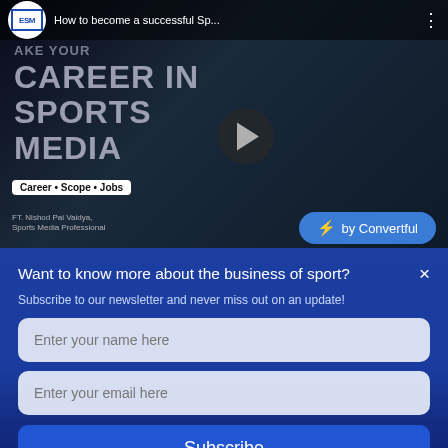[Figure (screenshot): YouTube video thumbnail showing 'How to become a successful Sp...' with ESM logo, text overlay reading 'MAKE YOUR CAREER IN SPORTS MEDIA', Career Scope Jobs badge, FT. Nishod Pai Vaidya Sports Media Professional credit, and Convertful subscribe button overlay.]
Want to know more about the business of sport? ×
Subscribe to our newsletter and never miss out on an update!
Enter your name here
Enter your email here
Subscribe